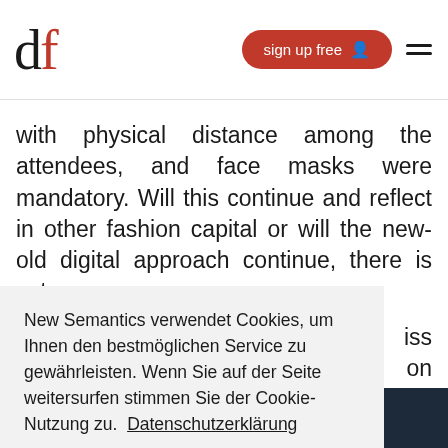df – sign up free ☰
with physical distance among the attendees, and face masks were mandatory. Will this continue and reflect in other fashion capital or will the new-old digital approach continue, there is yet
iss on he
New Semantics verwendet Cookies, um Ihnen den bestmöglichen Service zu gewährleisten. Wenn Sie auf der Seite weitersurfen stimmen Sie der Cookie-Nutzung zu.  Datenschutzerklärung
Ablehnen   OK
[Figure (photo): Dark blue/black image strip at the bottom of the page, partially obscured by cookie banner]